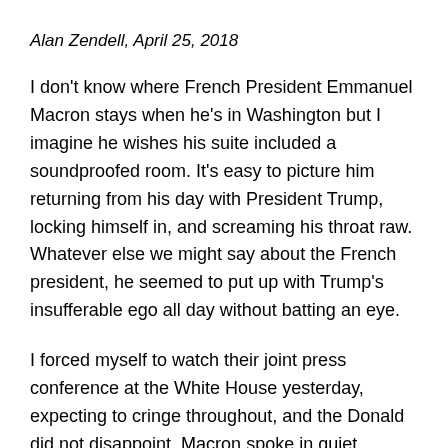Alan Zendell, April 25, 2018
I don't know where French President Emmanuel Macron stays when he's in Washington but I imagine he wishes his suite included a soundproofed room. It's easy to picture him returning from his day with President Trump, locking himself in, and screaming his throat raw. Whatever else we might say about the French president, he seemed to put up with Trump's insufferable ego all day without batting an eye.
I forced myself to watch their joint press conference at the White House yesterday, expecting to cringe throughout, and the Donald did not disappoint. Macron spoke in quiet, eloquent accented English, polite and diplomatic in every way, but when Trump took the microphone we were treated to his blustering and disjointed style. So, again,